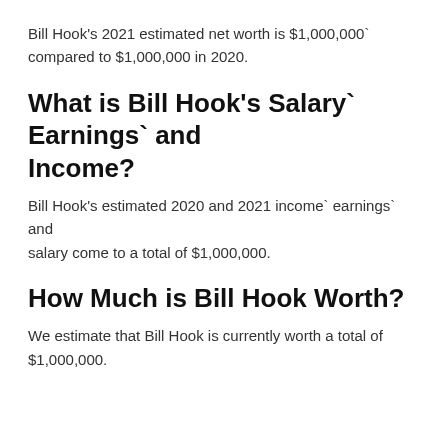Bill Hook's 2021 estimated net worth is $1,000,000` compared to $1,000,000 in 2020.
What is Bill Hook's Salary` Earnings` and Income?
Bill Hook's estimated 2020 and 2021 income` earnings` and salary come to a total of $1,000,000.
How Much is Bill Hook Worth?
We estimate that Bill Hook is currently worth a total of $1,000,000.